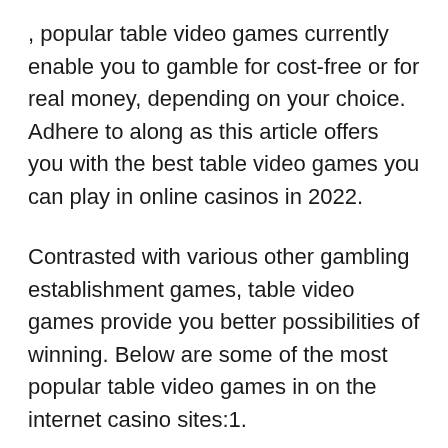, popular table video games currently enable you to gamble for cost-free or for real money, depending on your choice. Adhere to along as this article offers you with the best table video games you can play in online casinos in 2022.
Contrasted with various other gambling establishment games, table video games provide you better possibilities of winning. Below are some of the most popular table video games in on the internet casino sites:1.
You will after that attempt to defeat the dealership's hand to win the video game. To begin, you have to position a bet within your money. Then you can compare your cards after every wager.